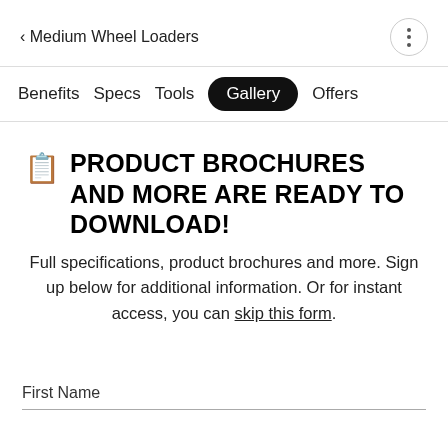< Medium Wheel Loaders
Benefits  Specs  Tools  Gallery  Offers
PRODUCT BROCHURES AND MORE ARE READY TO DOWNLOAD!
Full specifications, product brochures and more. Sign up below for additional information. Or for instant access, you can skip this form.
First Name